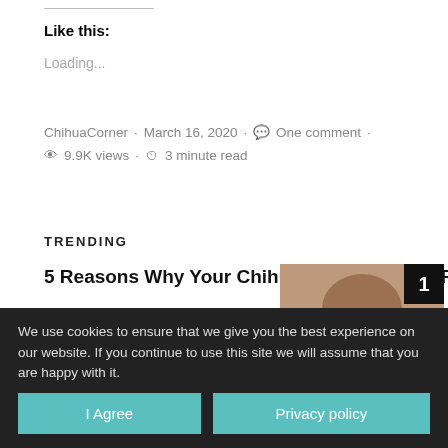Like this:
Loading...
ChihuaCorner · March 16, 2020 · One comment · 9.9K views · 3 minute read
TRENDING
5 Reasons Why Your Chihuahua Licks Your Face So Much
[Figure (photo): Thumbnail image for article 1 with badge number 1]
From The Vet: 3 Things Every Chihuahua Owner Should Watch For
[Figure (photo): Thumbnail image for article 2 with badge number 2]
We use cookies to ensure that we give you the best experience on our website. If you continue to use this site we will assume that you are happy with it.